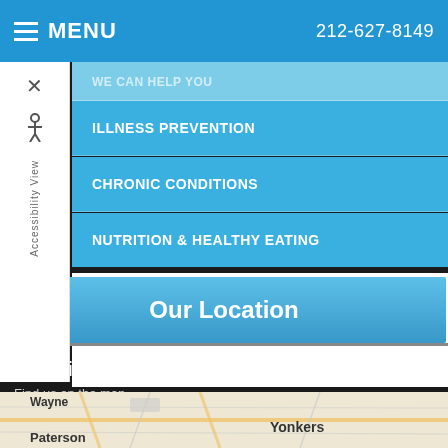MENU   212-627-8149
ILLNESS PREVENTION
CHRONIC CONDITIONS
NUTRITION & HEALTHY EATING
Our Location
Location
Find us on the map
[Figure (map): Street map showing Yonkers, Paterson, Wayne area]